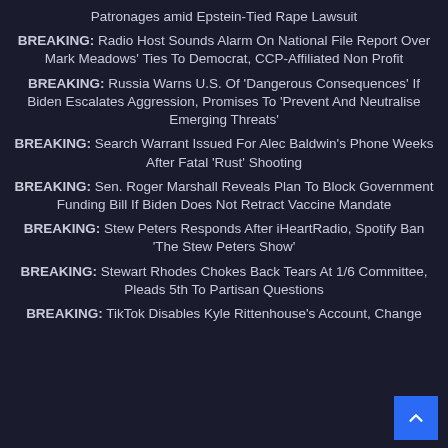Patronages amid Epstein-Tied Rape Lawsuit
BREAKING: Radio Host Sounds Alarm On National File Report Over Mark Meadows' Ties To Democrat, CCP-Affiliated Non Profit
BREAKING: Russia Warns U.S. Of 'Dangerous Consequences' If Biden Escalates Aggression, Promises To 'Prevent And Neutralise Emerging Threats'
BREAKING: Search Warrant Issued For Alec Baldwin's Phone Weeks After Fatal 'Rust' Shooting
BREAKING: Sen. Roger Marshall Reveals Plan To Block Government Funding Bill If Biden Does Not Retract Vaccine Mandate
BREAKING: Stew Peters Responds After iHeartRadio, Spotify Ban 'The Stew Peters Show'
BREAKING: Stewart Rhodes Chokes Back Tears At 1/6 Committee, Pleads 5th To Partisan Questions
BREAKING: TikTok Disables Kyle Rittenhouse's Account, Change